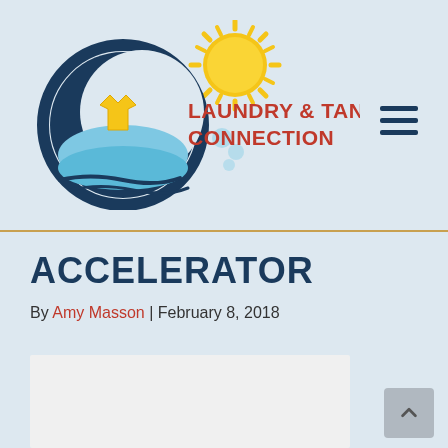[Figure (logo): Laundry & Tan Connection logo with circular emblem featuring a blue crescent moon, yellow sun with rays, light blue water wave, and a yellow shirt; text reads LAUNDRY & TAN CONNECTION in red bold letters]
ACCELERATOR
By Amy Masson | February 8, 2018
[Figure (photo): Partial image area visible at bottom of page, appears to be a white/light content block]